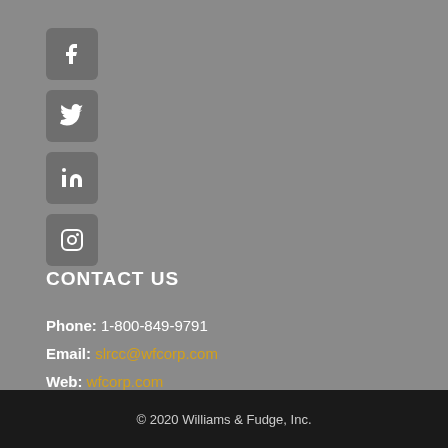[Figure (illustration): Facebook icon in a dark grey rounded square box]
[Figure (illustration): Twitter icon in a dark grey rounded square box]
[Figure (illustration): LinkedIn icon in a dark grey rounded square box]
[Figure (illustration): Instagram icon in a dark grey rounded square box]
CONTACT US
Phone: 1-800-849-9791
Email: slrcc@wfcorp.com
Web: wfcorp.com
© 2020 Williams & Fudge, Inc.